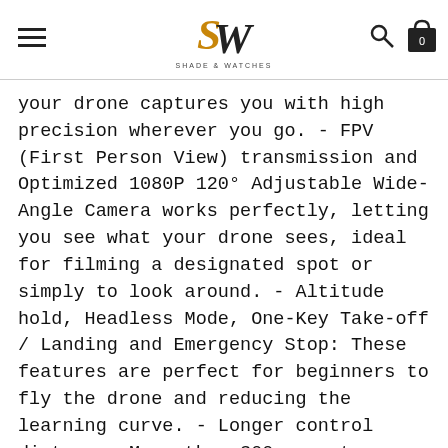Shade & Watches logo header with navigation icons
your drone captures you with high precision wherever you go. - FPV (First Person View) transmission and Optimized 1080P 120° Adjustable Wide-Angle Camera works perfectly, letting you see what your drone sees, ideal for filming a designated spot or simply to look around. - Altitude hold, Headless Mode, One-Key Take-off / Landing and Emergency Stop: These features are perfect for beginners to fly the drone and reducing the learning curve. - Longer control distance: More than 300m remote control distance. Removable 3. 7V 1000mAH, high-capacity rechargeable battery with energy-optimized system gives you a vastly improved flight experience. Up to 10 minutes of flight time! - Upgraded 9-Axis Gyroscope: Different from most common